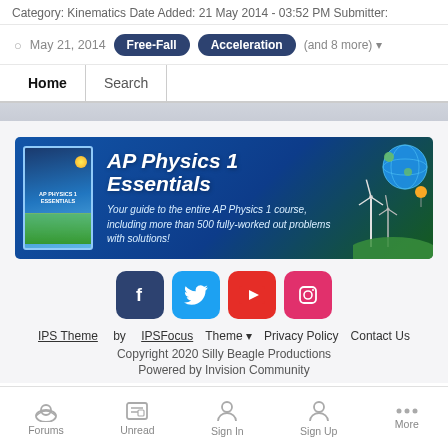Category: Kinematics Date Added: 21 May 2014 - 03:52 PM Submitter:
May 21, 2014   Free-Fall   Acceleration   (and 8 more)
Home   Search
[Figure (illustration): AP Physics 1 Essentials advertisement banner. Blue background with book cover on left, title 'AP Physics 1 Essentials' in large italic white text, subtitle 'Your guide to the entire AP Physics 1 course, including more than 500 fully-worked out problems with solutions!', wind turbines and earth graphic on right.]
[Figure (infographic): Social media icons row: Facebook (dark blue), Twitter (light blue), YouTube (red), Instagram (pink/red)]
IPS Theme by IPSFocus   Theme ▾   Privacy Policy   Contact Us
Copyright 2020 Silly Beagle Productions
Powered by Invision Community
Forums   Unread   Sign In   Sign Up   More